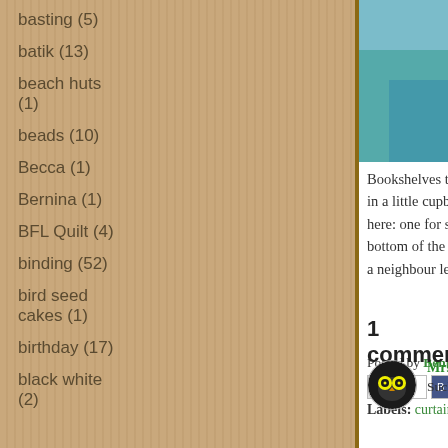basting (5)
batik (13)
beach huts (1)
beads (10)
Becca (1)
Bernina (1)
BFL Quilt (4)
binding (52)
bird seed cakes (1)
birthday (17)
black white (2)
[Figure (photo): Photo of fabric and clothing on shelves/cupboard]
Bookshelves to the left and the far r... in a little cupboard front right.  Two r... here: one for sewing and one for em... bottom of the stairs hoping for a ser... a neighbour leaving (embarrassed d...
Posted by Benta AtSLIKstitches at 1...
Labels: curtains, finished, sewing ro...
1 comment:
Mrs Flying Blind... 28 July 2...
Such a show off, did you...